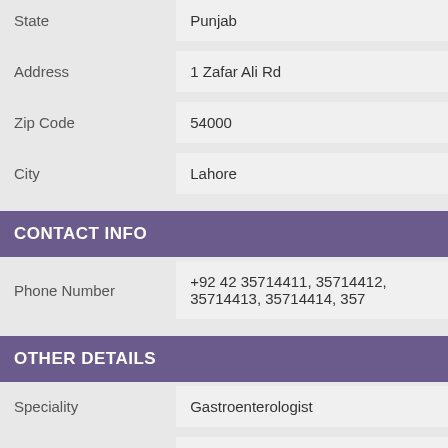| State | Punjab |
| Address | 1 Zafar Ali Rd |
| Zip Code | 54000 |
| City | Lahore |
CONTACT INFO
| Phone Number | +92 42 35714411, 35714412, 35714413, 35714414, 357 |
OTHER DETAILS
| Speciality | Gastroenterologist |
| Qualifications | MBBS FCPS MACG - Gasro-Enterologist |